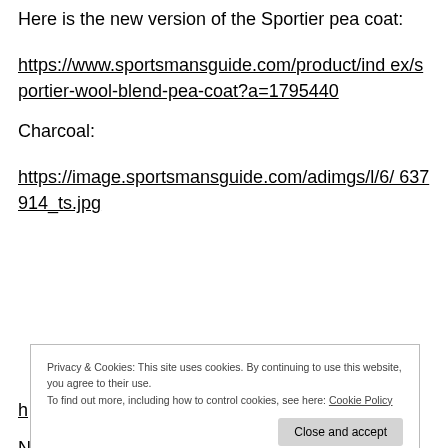Here is the new version of the Sportier pea coat:
https://www.sportsmansguide.com/product/index/sportier-wool-blend-pea-coat?a=1795440
Charcoal:
https://image.sportsmansguide.com/adimgs/l/6/637914_ts.jpg
Privacy & Cookies: This site uses cookies. By continuing to use this website, you agree to their use. To find out more, including how to control cookies, see here: Cookie Policy
N